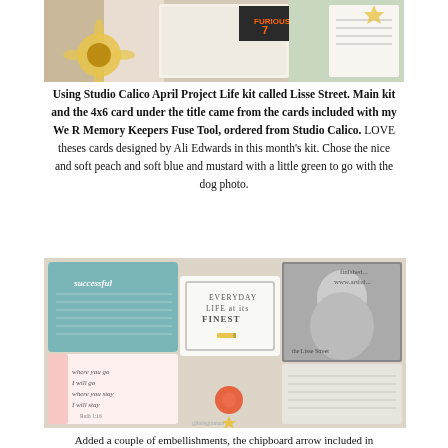[Figure (photo): Collage of Project Life scrapbooking cards and photos spread across a flat lay, showing various decorative journaling cards with text, floral elements, and a Furious 7 movie card.]
Using Studio Calico April Project Life kit called Lisse Street. Main kit and the 4x6 card under the title came from the cards included with my We R Memory Keepers Fuse Tool, ordered from Studio Calico. LOVE theses cards designed by Ali Edwards in this month's kit. Chose the nice and soft peach and soft blue and mustard with a little green to go with the dog photo.
[Figure (photo): Close-up flat lay of Project Life scrapbooking pages showing multiple journaling cards including one reading 'Everyday Life at its Finest', a handwritten quote card, a black and white portrait photo, and a 'successful' teal card with text.]
Added a couple of embellishments, the chipboard arrow included in